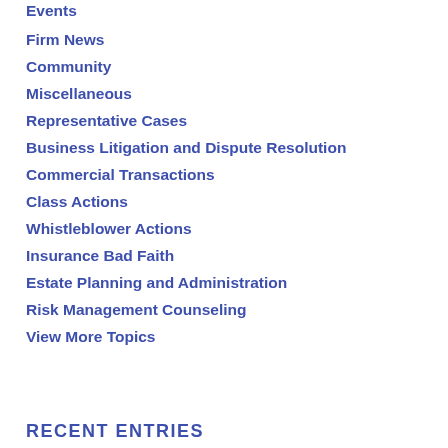Events
Firm News
Community
Miscellaneous
Representative Cases
Business Litigation and Dispute Resolution
Commercial Transactions
Class Actions
Whistleblower Actions
Insurance Bad Faith
Estate Planning and Administration
Risk Management Counseling
View More Topics
RECENT ENTRIES